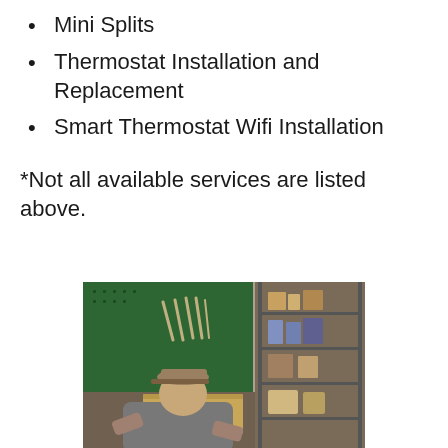Mini Splits
Thermostat Installation and Replacement
Smart Thermostat Wifi Installation
*Not all available services are listed above.
[Figure (photo): A technician in a gray hoodie and cap leaning over a workbench in a workshop, with a green pegboard holding wrenches in the background and shelving units on the right side.]